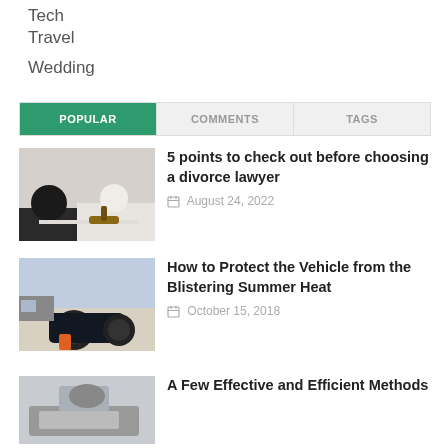Tech
Travel
Wedding
POPULAR | COMMENTS | TAGS
[Figure (photo): Two people at a desk with a judge gavel, lawyer consultation scene]
5 points to check out before choosing a divorce lawyer
August 24, 2022
[Figure (photo): Overturned dark car at side of road in sunny desert setting]
How to Protect the Vehicle from the Blistering Summer Heat
October 15, 2018
[Figure (photo): Partial view of person at laptop]
A Few Effective and Efficient Methods